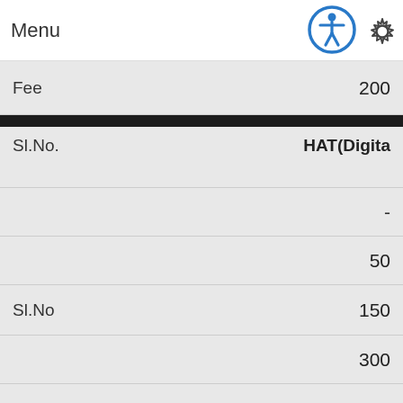Menu
| Field | Value |
| --- | --- |
| Fee | 200 |
| Sl.No. | HAT(Digita |
|  | - |
|  | 50 |
| Sl.No | 150 |
|  | 300 |
| Fee | 600 |
| Sl.No. | Re-prog/Fo |